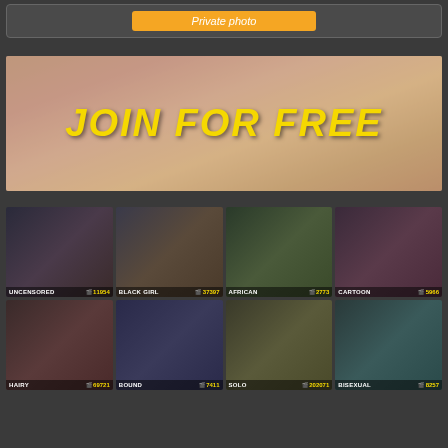[Figure (screenshot): Private photo button in a box]
[Figure (photo): Banner advertisement with JOIN FOR FREE text overlay]
[Figure (screenshot): Grid of thumbnail images with category labels: UNCENSORED 11954, BLACK GIRL 37397, AFRICAN 2773, CARTOON 5966, HAIRY 69721, BOUND 7411, SOLO 202071, BISEXUAL 8257]